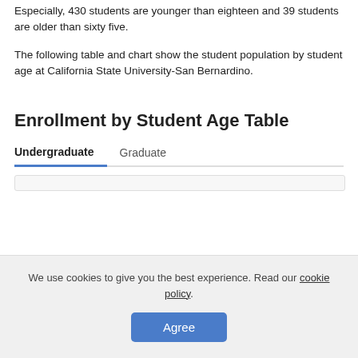Especially, 430 students are younger than eighteen and 39 students are older than sixty five.
The following table and chart show the student population by student age at California State University-San Bernardino.
Enrollment by Student Age Table
| Undergraduate | Graduate |
| --- | --- |
We use cookies to give you the best experience. Read our cookie policy.